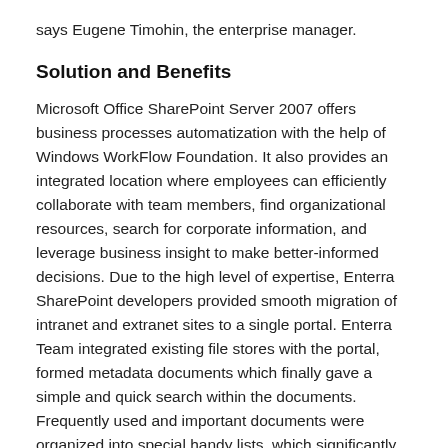says Eugene Timohin, the enterprise manager.
Solution and Benefits
Microsoft Office SharePoint Server 2007 offers business processes automatization with the help of Windows WorkFlow Foundation. It also provides an integrated location where employees can efficiently collaborate with team members, find organizational resources, search for corporate information, and leverage business insight to make better-informed decisions. Due to the high level of expertise, Enterra SharePoint developers provided smooth migration of intranet and extranet sites to a single portal. Enterra Team integrated existing file stores with the portal, formed metadata documents which finally gave a simple and quick search within the documents. Frequently used and important documents were organized into special handy lists, which significantly simplified their search and use at work. Automotive module of file copying is one of the main